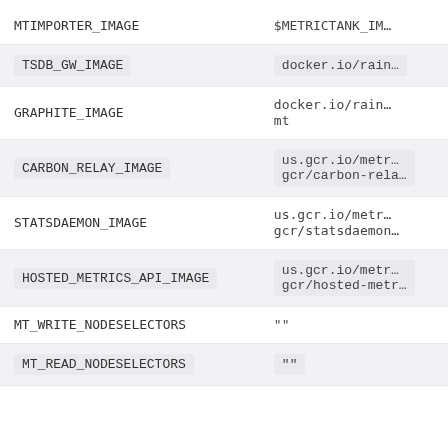| Parameter | Value |
| --- | --- |
| MTIMPORTER_IMAGE | $METRICTANK_IM… |
| TSDB_GW_IMAGE | docker.io/rain… |
| GRAPHITE_IMAGE | docker.io/rain…mt |
| CARBON_RELAY_IMAGE | us.gcr.io/metr…gcr/carbon-rela… |
| STATSDAEMON_IMAGE | us.gcr.io/metr…gcr/statsdaemon… |
| HOSTED_METRICS_API_IMAGE | us.gcr.io/metr…gcr/hosted-metr… |
| MT_WRITE_NODESELECTORS | "" |
| MT_READ_NODESELECTORS | "" |